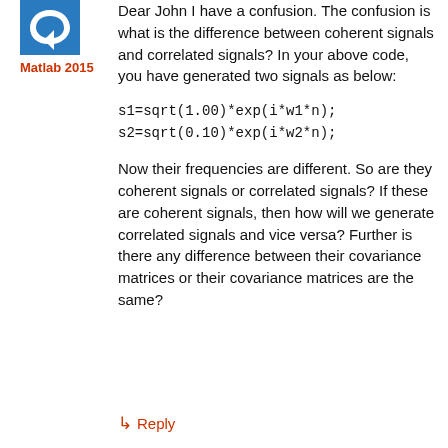[Figure (illustration): Blue square avatar icon with a white swirl/arrow shape]
Matlab 2015
Dear John I have a confusion. The confusion is what is the difference between coherent signals and correlated signals? In your above code, you have generated two signals as below:
Now their frequencies are different. So are they coherent signals or correlated signals? If these are coherent signals, then how will we generate correlated signals and vice versa? Further is there any difference between their covariance matrices or their covariance matrices are the same?
↳ Reply